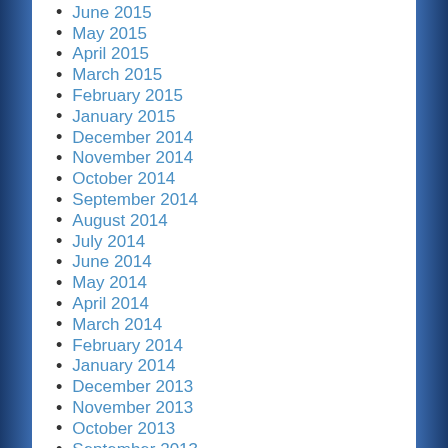June 2015
May 2015
April 2015
March 2015
February 2015
January 2015
December 2014
November 2014
October 2014
September 2014
August 2014
July 2014
June 2014
May 2014
April 2014
March 2014
February 2014
January 2014
December 2013
November 2013
October 2013
September 2013
August 2013